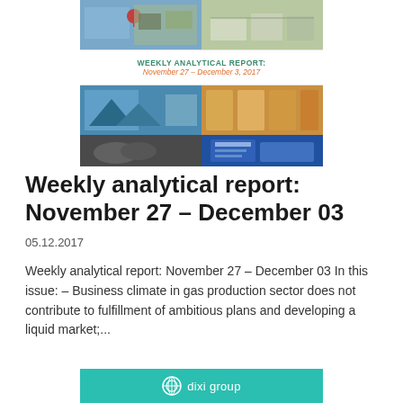[Figure (illustration): Weekly Analytical Report cover image showing a map with location pin, wind turbines, solar panels, food/agriculture imagery, two people in discussion, and a digital device. A banner reads 'WEEKLY ANALYTICAL REPORT: November 27 - December 3, 2017'.]
Weekly analytical report: November 27 – December 03
05.12.2017
Weekly analytical report: November 27 – December 03 In this issue: – Business climate in gas production sector does not contribute to fulfillment of ambitious plans and developing a liquid market;...
[Figure (logo): Dixi Group logo on teal/turquoise background banner]